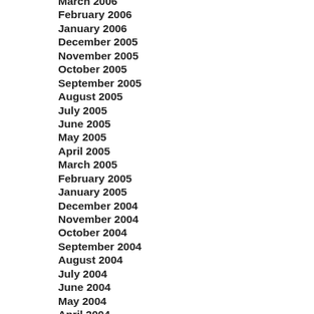March 2006
February 2006
January 2006
December 2005
November 2005
October 2005
September 2005
August 2005
July 2005
June 2005
May 2005
April 2005
March 2005
February 2005
January 2005
December 2004
November 2004
October 2004
September 2004
August 2004
July 2004
June 2004
May 2004
April 2004